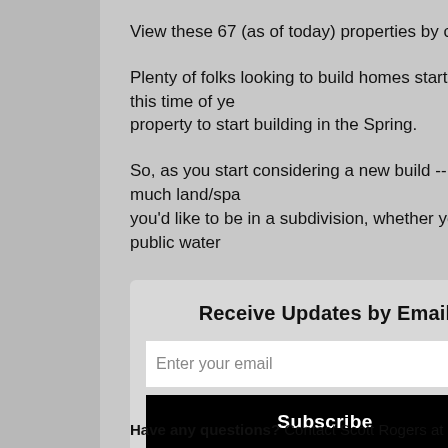View these 67 (as of today) properties by clicking here.
Plenty of folks looking to build homes start to think about it at this time of year, wanting to secure a property to start building in the Spring.
So, as you start considering a new build -- think about how much land/space you'd like, whether you'd like to be in a subdivision, whether you'd prefer to have public water
Receive Updates by Email
Enter your email
Subscribe
Have any questions? Contact Scott Rogers at 540-578-0102 or scott@fu...